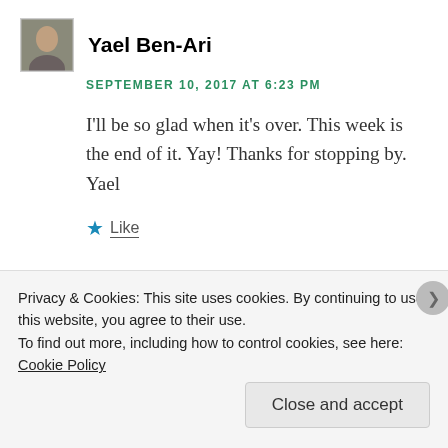[Figure (photo): Small avatar photo of a person, square with border]
Yael Ben-Ari
SEPTEMBER 10, 2017 AT 6:23 PM
I'll be so glad when it's over. This week is the end of it. Yay! Thanks for stopping by.
Yael
Like
[Figure (illustration): Decorative patterned avatar for Andrea @ From The Sol]
Andrea @ From The Sol
Privacy & Cookies: This site uses cookies. By continuing to use this website, you agree to their use.
To find out more, including how to control cookies, see here: Cookie Policy
Close and accept